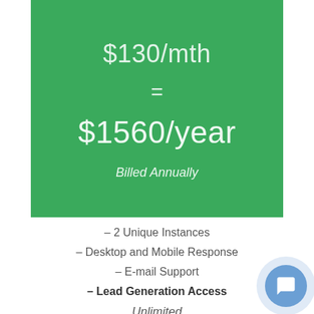$130/mth
=
$1560/year
Billed Annually
– 2 Unique Instances
– Desktop and Mobile Response
– E-mail Support
– Lead Generation Access
Unlimited